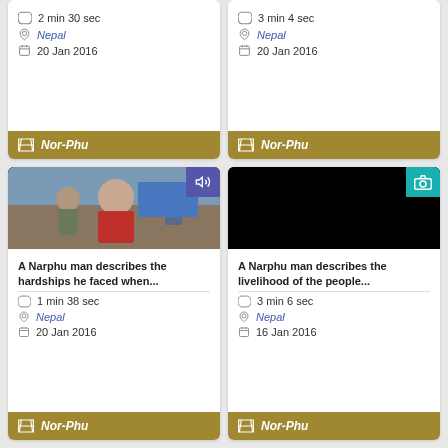2 min 30 sec | Nepal | 20 Jan 2016 | Nor-Phu
3 min 4 sec | Nepal | 20 Jan 2016 | Nor-Phu
[Figure (photo): Video thumbnail of a Narphu man in a red shirt with audio icon badge]
[Figure (photo): Black video thumbnail with camera icon badge]
A Narphu man describes the hardships he faced when... | 1 min 38 sec | Nepal | 20 Jan 2016 | Nor-Phu
A Narphu man describes the livelihood of the people... | 3 min 6 sec | Nepal | 16 Jan 2016 | Nor-Phu